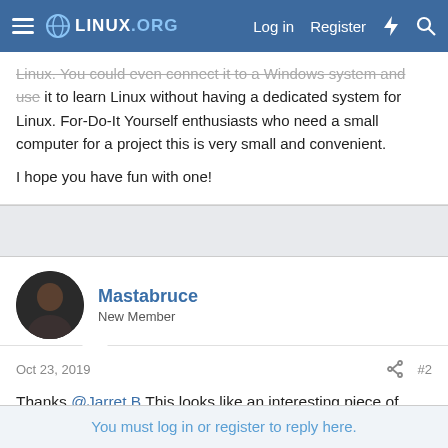LINUX.ORG — Log in | Register
Linux. You could even connect it to a Windows system and use it to learn Linux without having a dedicated system for Linux. For-Do-It Yourself enthusiasts who need a small computer for a project this is very small and convenient.

I hope you have fun with one!
Mastabruce
New Member
Oct 23, 2019   #2
Thanks @Jarret B This looks like an interesting piece of hardware that could be super useful for projects! I love the size comparison as well 😀
You must log in or register to reply here.